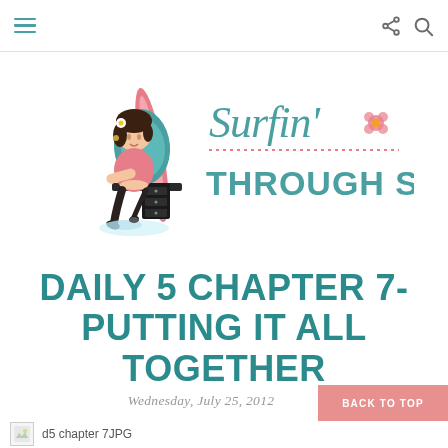[Navigation bar with menu icon, share icon, search icon]
[Figure (logo): Surfin' Through Second blog logo — cartoon woman at desk with surfboard, teal script 'Surfin'' text and bold teal 'THROUGH SECOND' text with dotted border]
DAILY 5 CHAPTER 7- PUTTING IT ALL TOGETHER
Wednesday, July 25, 2012
BACK TO TOP
d5 chapter 7JPG